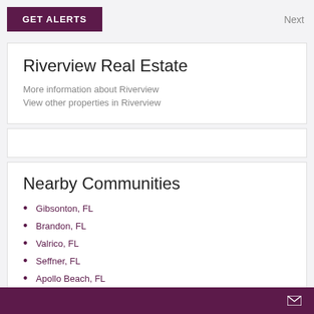GET ALERTS
Next
Riverview Real Estate
More information about Riverview
View other properties in Riverview
Nearby Communities
Gibsonton, FL
Brandon, FL
Valrico, FL
Seffner, FL
Apollo Beach, FL